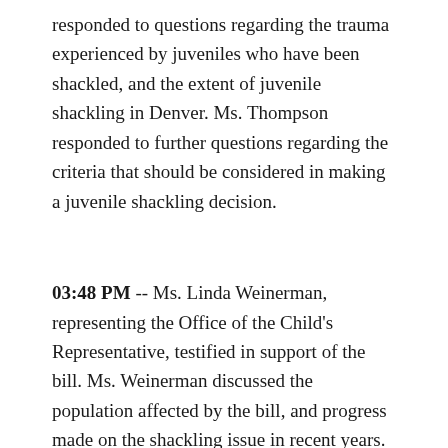responded to questions regarding the trauma experienced by juveniles who have been shackled, and the extent of juvenile shackling in Denver. Ms. Thompson responded to further questions regarding the criteria that should be considered in making a juvenile shackling decision.
03:48 PM -- Ms. Linda Weinerman, representing the Office of the Child's Representative, testified in support of the bill. Ms. Weinerman discussed the population affected by the bill, and progress made on the shackling issue in recent years. Ms. Weinerman discussed disparate juvenile shackling policies among the judicial districts. Discussion ensued